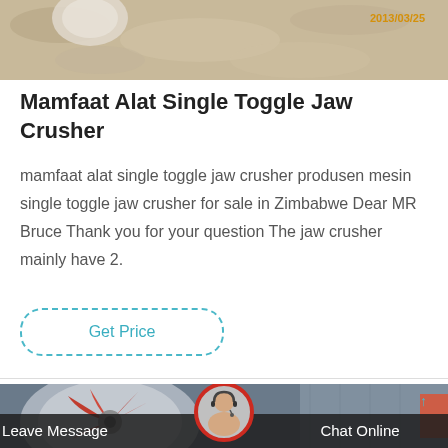[Figure (photo): Top portion of a photograph showing sandy/rocky ground or crusher material with a timestamp '2013/03/25' in orange text in the top right corner.]
Mamfaat Alat Single Toggle Jaw Crusher
mamfaat alat single toggle jaw crusher produsen mesin single toggle jaw crusher for sale in Zimbabwe Dear MR Bruce Thank you for your question The jaw crusher mainly have 2.
[Figure (screenshot): A dashed-border rounded rectangle button labeled 'Get Price' in teal/cyan text.]
[Figure (photo): Bottom portion showing an industrial machine with red rotating impeller blades inside a cylindrical housing, with a factory/warehouse visible on the right side. A customer service representative avatar (woman with headset) is overlaid in a circular red-bordered badge at center. Below is a dark translucent bar with 'Leave Message' on the left and 'Chat Online' on the right in white text.]